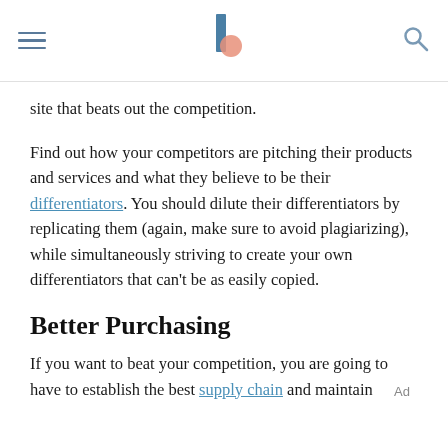[navigation header with hamburger menu, logo, and search icon]
site that beats out the competition.
Find out how your competitors are pitching their products and services and what they believe to be their differentiators. You should dilute their differentiators by replicating them (again, make sure to avoid plagiarizing), while simultaneously striving to create your own differentiators that can't be as easily copied.
Better Purchasing
If you want to beat your competition, you are going to have to establish the best supply chain and maintain